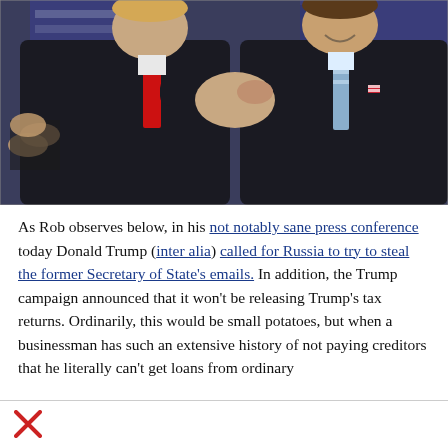[Figure (photo): Two men in dark suits shaking hands in front of American flags. The man on the left wears a red tie, the man on the right wears a striped tie. Other people are visible applauding in the background.]
As Rob observes below, in his not notably sane press conference today Donald Trump (inter alia) called for Russia to try to steal the former Secretary of State's emails. In addition, the Trump campaign announced that it won't be releasing Trump's tax returns. Ordinarily, this would be small potatoes, but when a businessman has such an extensive history of not paying creditors that he literally can't get loans from ordinary